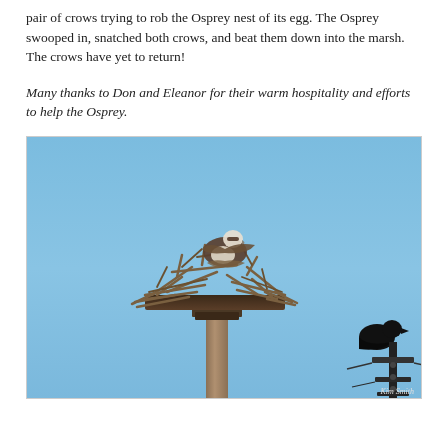pair of crows trying to rob the Osprey nest of its egg. The Osprey swooped in, snatched both crows, and beat them down into the marsh. The crows have yet to return!
Many thanks to Don and Eleanor for their warm hospitality and efforts to help the Osprey.
[Figure (photo): Photograph of an Osprey perched on a large stick nest atop a wooden pole platform, against a clear blue sky. In the bottom right a dark crow silhouette is visible on a utility structure. Photo credit: Kim Smith.]